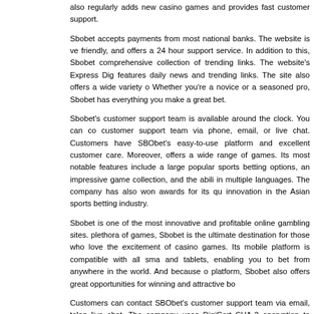also regularly adds new casino games and provides fast customer support.
Sbobet accepts payments from most national banks. The website is very user-friendly, and offers a 24 hour support service. In addition to this, Sbobet offers a comprehensive collection of trending links. The website's Express Digest section features daily news and trending links. The site also offers a wide variety of games. Whether you're a novice or a seasoned pro, Sbobet has everything you need to make a great bet.
Sbobet's customer support team is available around the clock. You can contact the customer support team via phone, email, or live chat. Customers have praised SBObet's easy-to-use platform and excellent customer care. Moreover, the website offers a wide range of games. Its most notable features include a large variety of popular sports betting options, an impressive game collection, and the ability to play in multiple languages. The company has also won awards for its quality and innovation in the Asian sports betting industry.
Sbobet is one of the most innovative and profitable online gambling sites. With a plethora of games, Sbobet is the ultimate destination for those who love the thrill and excitement of casino games. Its mobile platform is compatible with all smartphones and tablets, enabling you to bet from anywhere in the world. And because of its mobile platform, Sbobet also offers great opportunities for winning and attractive bonuses.
Customers can contact SBObet's customer support team via email, telephone, or live chat. The company uses DigiCert SHA-2 encryption to protect user information. In case of an emergency, customer support agents are available round the clock to help customers. They will also provide instructions on how to download the necessary documents. Depending on the country, you may be required...